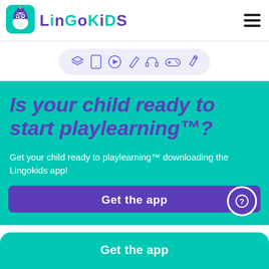[Figure (logo): Lingokids app logo: teal rounded square with cartoon owl mascot wearing glasses and headphones]
LINGOKIDS
[Figure (illustration): Hamburger menu icon (three horizontal lines)]
[Figure (illustration): Icon toolbar row with 7 icons: layers, tablet, play, pencil, headphones, game controller, microphone — on a light purple pill-shaped background]
Is your child ready to start playlearning™?
Get your child ready to playlearning™ downloading the Lingokids app!
Get the app
Get the app